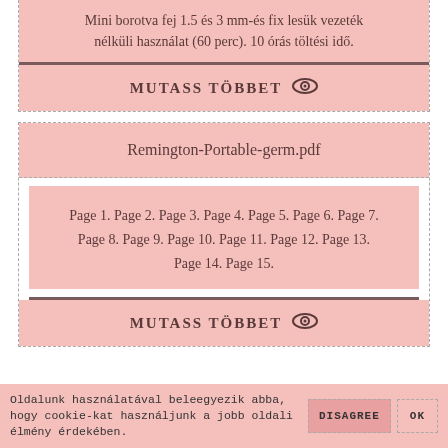Mini borotva fej 1.5 és 3 mm-es fix lesük vezeték nélküli használat (60 perc). 10 órás töltési idő.
MUTASS TÖBBET
Remington-Portable-germ.pdf
Page 1. Page 2. Page 3. Page 4. Page 5. Page 6. Page 7. Page 8. Page 9. Page 10. Page 11. Page 12. Page 13. Page 14. Page 15.
MUTASS TÖBBET
Oldalunk használatával beleegyezik abba, hogy cookie-kat használjunk a jobb oldali élmény érdekében.